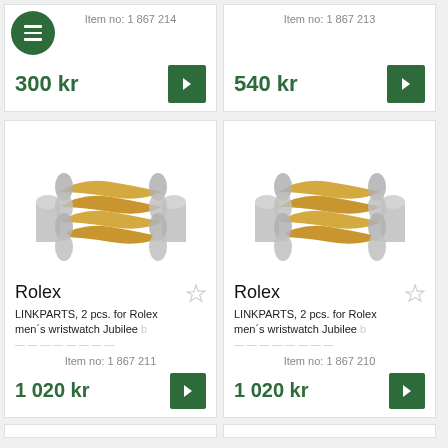Item no: 1 867 214
300 kr
Item no: 1 867 213
540 kr
[Figure (photo): Rolex Jubilee bracelet link parts, two-tone gold and steel, 2 pieces]
Rolex
LINKPARTS, 2 pcs. for Rolex men´s wristwatch Jubilee b
Item no: 1 867 211
1 020 kr
[Figure (photo): Rolex Jubilee bracelet link parts, two-tone gold and steel, 2 pieces]
Rolex
LINKPARTS, 2 pcs. for Rolex men´s wristwatch Jubilee b
Item no: 1 867 210
1 020 kr